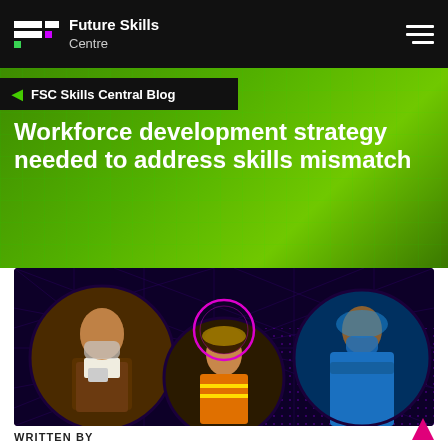Future Skills Centre
FSC Skills Central Blog
Workforce development strategy needed to address skills mismatch
[Figure (photo): Hero image on dark purple/black background with dot grid pattern and three circular portrait photos: a male restaurant worker in a brown apron using a tablet, a female worker in safety vest and hard hat, and a medical professional in blue scrubs and face shield with arms crossed. A magenta circle outline decorates the center.]
WRITTEN BY